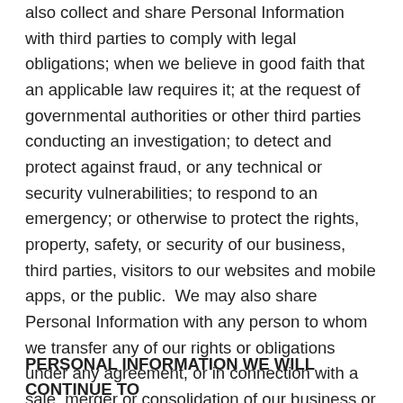also collect and share Personal Information with third parties to comply with legal obligations; when we believe in good faith that an applicable law requires it; at the request of governmental authorities or other third parties conducting an investigation; to detect and protect against fraud, or any technical or security vulnerabilities; to respond to an emergency; or otherwise to protect the rights, property, safety, or security of our business, third parties, visitors to our websites and mobile apps, or the public.  We may also share Personal Information with any person to whom we transfer any of our rights or obligations under any agreement, or in connection with a sale, merger or consolidation of our business or other transfer of our assets, whether voluntarily or by operation of law, or who is otherwise deemed to be our successor or transferee.
PERSONAL INFORMATION WE WILL CONTINUE TO